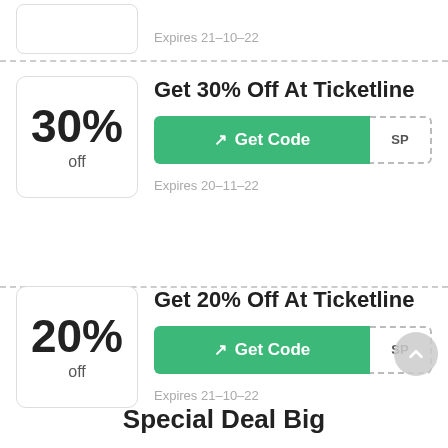Expires 21-10-22
Get 30% Off At Ticketline
Get Code
Expires 20-11-22
Get 20% Off At Ticketline
Get Code
Expires 21-10-22
Special Deal Big